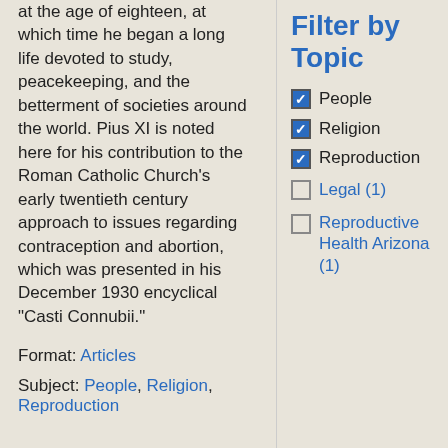at the age of eighteen, at which time he began a long life devoted to study, peacekeeping, and the betterment of societies around the world. Pius XI is noted here for his contribution to the Roman Catholic Church's early twentieth century approach to issues regarding contraception and abortion, which was presented in his December 1930 encyclical "Casti Connubii."
Format: Articles
Subject: People, Religion, Reproduction
Filter by Topic
People (checked)
Religion (checked)
Reproduction (checked)
Legal (1) (unchecked)
Reproductive Health Arizona (1) (unchecked)